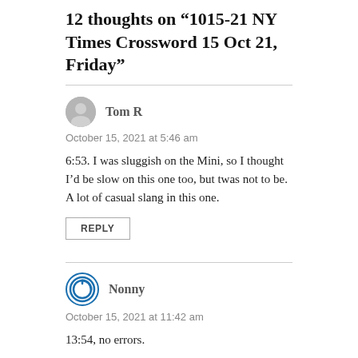12 thoughts on “1015-21 NY Times Crossword 15 Oct 21, Friday”
Tom R
October 15, 2021 at 5:46 am
6:53. I was sluggish on the Mini, so I thought I’d be slow on this one too, but twas not to be. A lot of casual slang in this one.
REPLY
Nonny
October 15, 2021 at 11:42 am
13:54, no errors.